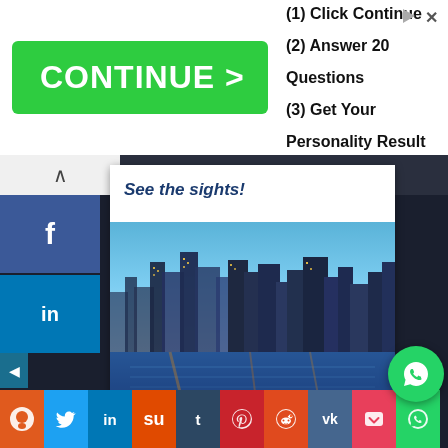[Figure (screenshot): Advertisement banner with green CONTINUE button and steps: (1) Click Continue, (2) Answer 20 Questions, (3) Get Your Personality Result]
[Figure (screenshot): Dark browser UI with collapse arrow, Facebook and LinkedIn social sidebar buttons, an ad card popup showing 'See the sights!' text with city skyline photo and green GO! button, and a bottom social sharing bar with various platform icons and a floating WhatsApp button]